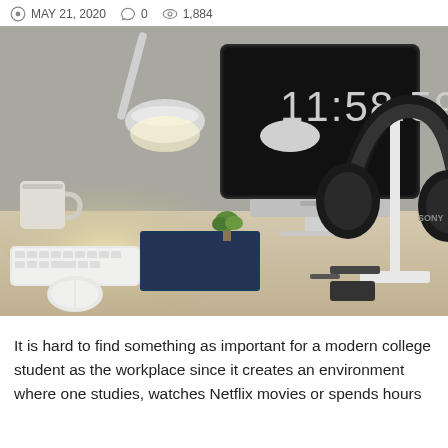MAY 21, 2020  0  1,884
[Figure (photo): A modern desk setup with a Sony headphone on a white stand, an Apple iMac showing 11:58:59, a white desk lamp, Apple keyboard and mouse, a coffee mug, and various accessories on a wooden desk surface.]
It is hard to find something as important for a modern college student as the workplace since it creates an environment where one studies, watches Netflix movies or spends hours